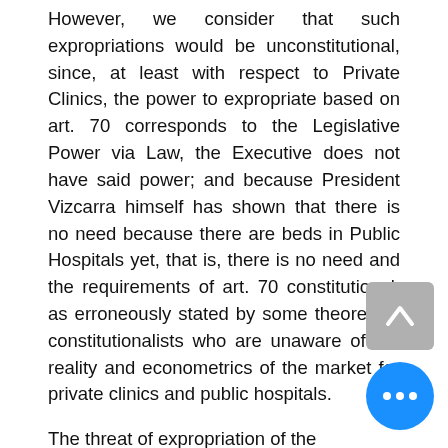However, we consider that such expropriations would be unconstitutional, since, at least with respect to Private Clinics, the power to expropriate based on art. 70 corresponds to the Legislative Power via Law, the Executive does not have said power; and because President Vizcarra himself has shown that there is no need because there are beds in Public Hospitals yet, that is, there is no need and the requirements of art. 70 constitutional, as erroneously stated by some theoretical constitutionalists who are unaware of the reality and econometrics of the market for private clinics and public hospitals.
The threat of expropriation of the